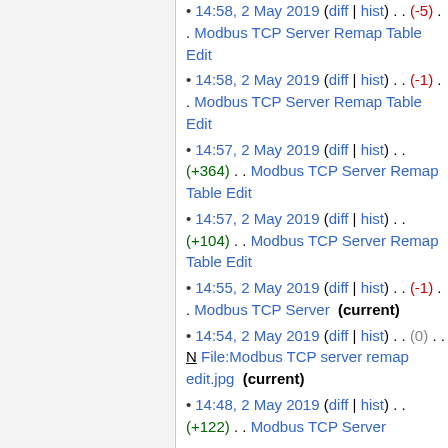14:58, 2 May 2019 (diff | hist) . . (-5) . . Modbus TCP Server Remap Table Edit
14:58, 2 May 2019 (diff | hist) . . (-1) . . Modbus TCP Server Remap Table Edit
14:57, 2 May 2019 (diff | hist) . . (+364) . . Modbus TCP Server Remap Table Edit
14:57, 2 May 2019 (diff | hist) . . (+104) . . Modbus TCP Server Remap Table Edit
14:55, 2 May 2019 (diff | hist) . . (-1) . . Modbus TCP Server (current)
14:54, 2 May 2019 (diff | hist) . . (0) . . N File:Modbus TCP server remap edit.jpg (current)
14:48, 2 May 2019 (diff | hist) . . (+122) . . Modbus TCP Server